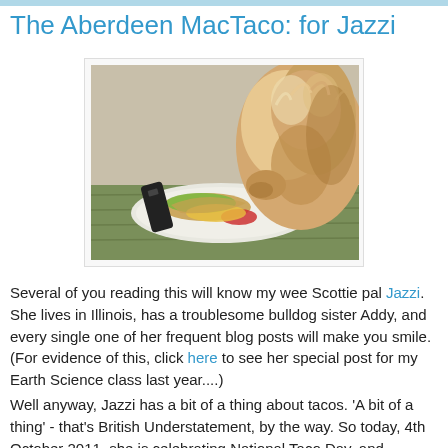The Aberdeen MacTaco: for Jazzi
The Aberdeen MacTaco: for Jazzi
[Figure (photo): A fluffy dog leaning over a plate of tacos/food on a green wooden table, with a black remote control nearby.]
Several of you reading this will know my wee Scottie pal Jazzi. She lives in Illinois, has a troublesome bulldog sister Addy, and every single one of her frequent blog posts will make you smile. (For evidence of this, click here to see her special post for my Earth Science class last year....)
Well anyway, Jazzi has a bit of a thing about tacos. 'A bit of a thing' - that's British Understatement, by the way. So today, 4th October 2011, she is celebrating National Taco Day, and